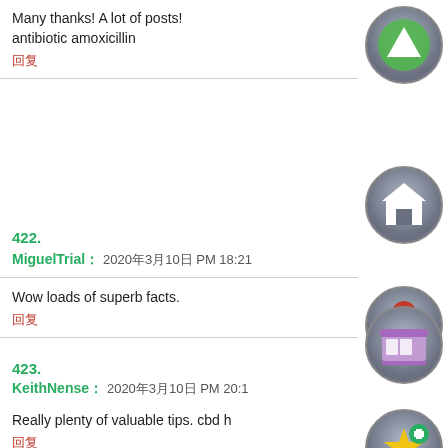Many thanks! A lot of posts!
antibiotic amoxicillin
回复
[Figure (illustration): Circular avatar with green upward triangle/arrow icon on dark metallic background]
422.
MiguelTrial : 2020年3月10日 PM 18:21
[Figure (illustration): Circular avatar with white house icon on dark metallic background]
Wow loads of superb facts.
回复
[Figure (illustration): Circular avatar with red person/user icon on dark metallic background]
423.
KeithNense : 2020年3月10日 PM 20:1
[Figure (illustration): Circular avatar with purple store/shop icon on dark metallic background]
Really plenty of valuable tips. cbd h
回复
[Figure (illustration): Circular avatar with gold star and plus icon on dark metallic background]